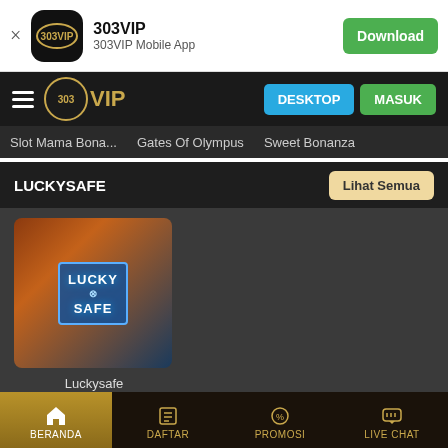[Figure (screenshot): App install banner for 303VIP with icon, title '303VIP', subtitle '303VIP Mobile App', and green Download button]
303VIP | 303VIP Mobile App | Download
[Figure (screenshot): Navigation bar with hamburger menu, 303VIP gold logo, DESKTOP button (blue), MASUK button (green)]
Slot Mama Bona... Gates Of Olympus Sweet Bonanza
LUCKYSAFE
Lihat Semua
[Figure (screenshot): Luckysafe game card image showing Lucky Safe game art with blue gem and fire motif]
Luckysafe
PGSOFT PROMO
Lihat Semua
BERANDA  DAFTAR  PROMOSI  LIVE CHAT